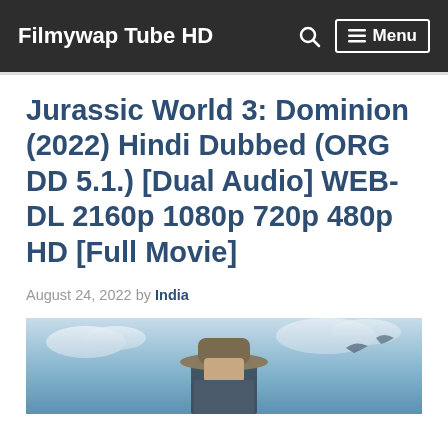Filmywap Tube HD  🔍  ☰ Menu
Jurassic World 3: Dominion (2022) Hindi Dubbed (ORG DD 5.1.) [Dual Audio] WEB-DL 2160p 1080p 720p 480p HD [Full Movie]
August 24, 2022 by India
[Figure (photo): Movie still from Jurassic World Dominion showing a man in a wide-brim hat against a sky with flying pterosaurs]